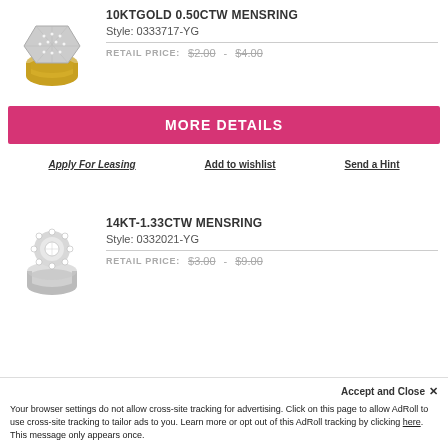[Figure (photo): Gold diamond mens ring - 10KT gold 0.50CTW signet style with diamond pave top]
10KTGOLD 0.50CTW MENSRING
Style: 0333717-YG
RETAIL PRICE:   $2.00  -  $4.00
MORE DETAILS
Apply For Leasing
Add to wishlist
Send a Hint
[Figure (photo): Silver diamond mens ring - 14KT 1.33CTW cluster halo style]
14KT-1.33CTW MENSRING
Style: 0332021-YG
RETAIL PRICE:   $3.00  -  $9.00
Accept and Close ✕
Your browser settings do not allow cross-site tracking for advertising. Click on this page to allow AdRoll to use cross-site tracking to tailor ads to you. Learn more or opt out of this AdRoll tracking by clicking here. This message only appears once.